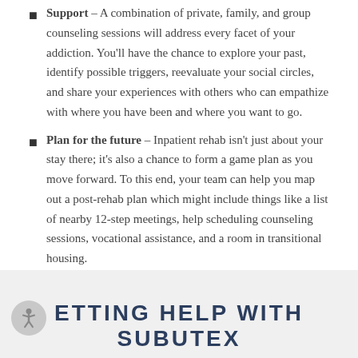Support – A combination of private, family, and group counseling sessions will address every facet of your addiction. You'll have the chance to explore your past, identify possible triggers, reevaluate your social circles, and share your experiences with others who can empathize with where you have been and where you want to go.
Plan for the future – Inpatient rehab isn't just about your stay there; it's also a chance to form a game plan as you move forward. To this end, your team can help you map out a post-rehab plan which might include things like a list of nearby 12-step meetings, help scheduling counseling sessions, vocational assistance, and a room in transitional housing.
ETTING HELP WITH SUBUTEX